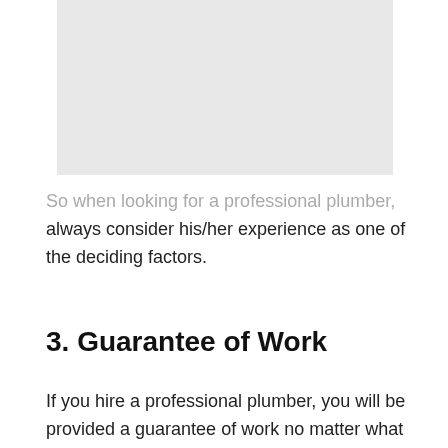[Figure (photo): Placeholder image area, light gray background]
So when looking for a professional plumber, always consider his/her experience as one of the deciding factors.
3. Guarantee of Work
If you hire a professional plumber, you will be provided a guarantee of work no matter what happens.
Furthermore, if there are any complaints In the future, the plumber will come back to fix the